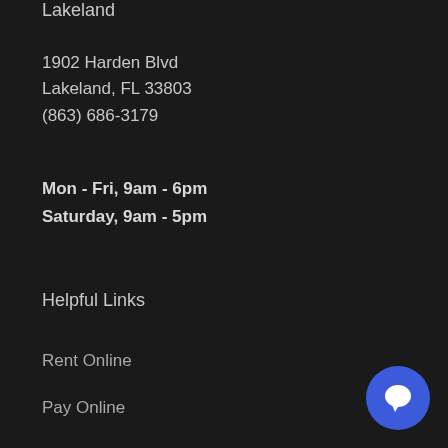Lakeland
1902 Harden Blvd
Lakeland, FL 33803
(863) 686-3179
Mon - Fri, 9am - 6pm
Saturday, 9am - 5pm
Helpful Links
Rent Online
Pay Online
Lessons
Repairs
[Figure (other): Blue circular chat button with white speech bubble icon in the bottom right corner]